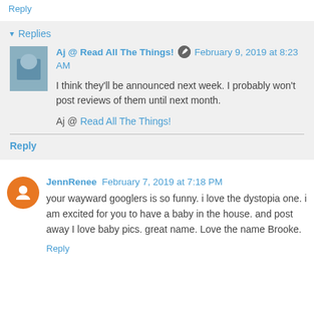Reply
▾ Replies
Aj @ Read All The Things! [edit icon] February 9, 2019 at 8:23 AM
I think they'll be announced next week. I probably won't post reviews of them until next month.
Aj @ Read All The Things!
Reply
JennRenee February 7, 2019 at 7:18 PM
your wayward googlers is so funny. i love the dystopia one. i am excited for you to have a baby in the house. and post away I love baby pics. great name. Love the name Brooke.
Reply